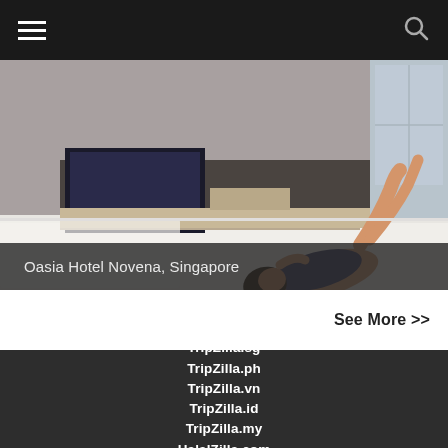[Figure (screenshot): Navigation bar with hamburger menu icon on left and search icon on right, dark background]
[Figure (photo): Hotel room photo showing a person lying on a white bed, TV and furniture visible, at Oasia Hotel Novena Singapore]
Oasia Hotel Novena, Singapore
See More >>
TripZilla.sg
TripZilla.ph
TripZilla.vn
TripZilla.id
TripZilla.my
HalalZilla.com